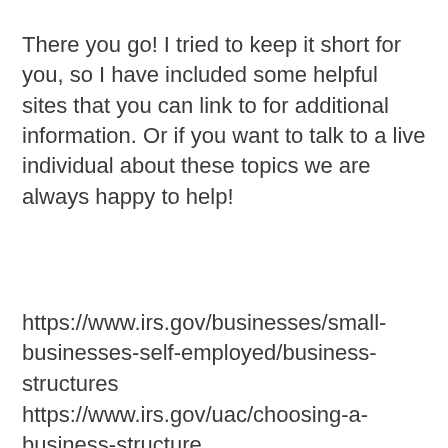There you go! I tried to keep it short for you, so I have included some helpful sites that you can link to for additional information. Or if you want to talk to a live individual about these topics we are always happy to help!
https://www.irs.gov/businesses/small-businesses-self-employed/business-structures
https://www.irs.gov/uac/choosing-a-business-structure